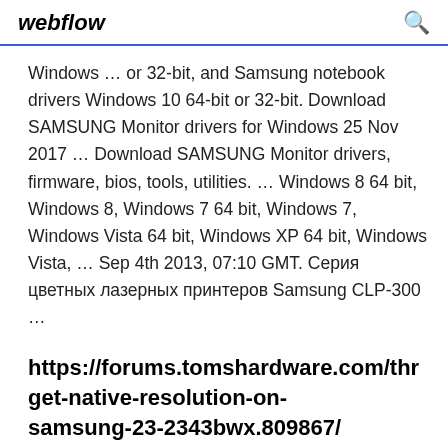webflow
Windows ... or 32-bit, and Samsung notebook drivers Windows 10 64-bit or 32-bit. Download SAMSUNG Monitor drivers for Windows 25 Nov 2017 ... Download SAMSUNG Monitor drivers, firmware, bios, tools, utilities. ... Windows 8 64 bit, Windows 8, Windows 7 64 bit, Windows 7, Windows Vista 64 bit, Windows XP 64 bit, Windows Vista, ... Sep 4th 2013, 07:10 GMT. Серия цветных лазерных принтеров Samsung CLP-300 ...
https://forums.tomshardware.com/thr get-native-resolution-on-samsung-23-2343bwx.809867/